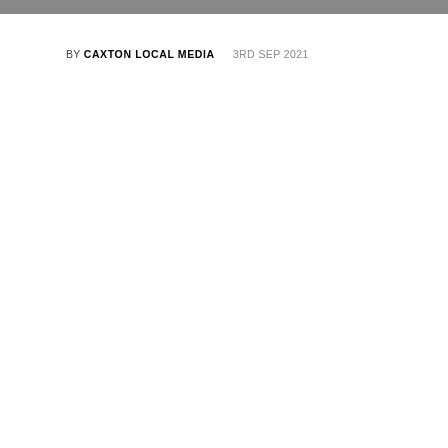BY CAXTON LOCAL MEDIA   3RD SEP 2021